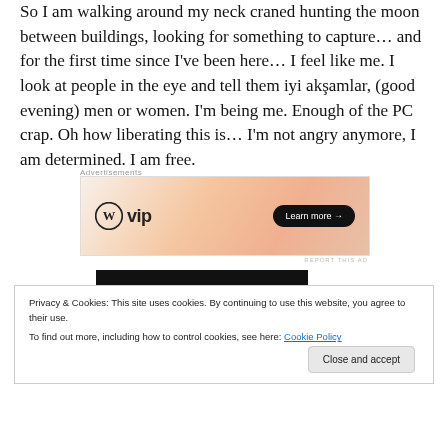So I am walking around my neck craned hunting the moon between buildings, looking for something to capture… and for the first time since I've been here… I feel like me. I look at people in the eye and tell them iyi akşamlar, (good evening) men or women. I'm being me. Enough of the PC crap. Oh how liberating this is… I'm not angry anymore, I am determined. I am free.
[Figure (screenshot): WordPress VIP advertisement banner with gradient orange background showing WordPress logo, 'vip' text, and 'Learn more →' button]
[Figure (screenshot): Cookie consent banner overlaid on page with text about cookies policy and a 'Close and accept' button]